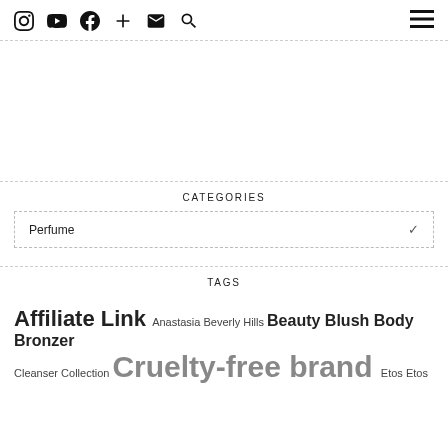Social media icons: Instagram, YouTube, Facebook, Plus, Email, Search, and hamburger menu
CATEGORIES
Perfume
TAGS
Affiliate Link Anastasia Beverly Hills Beauty Blush Body Bronzer Cleanser Collection Cruelty-free brand Etos Etos